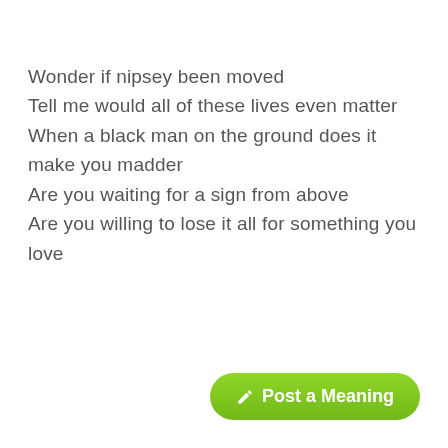Wonder if nipsey been moved
Tell me would all of these lives even matter
When a black man on the ground does it make you madder
Are you waiting for a sign from above
Are you willing to lose it all for something you love
✏ Post a Meaning